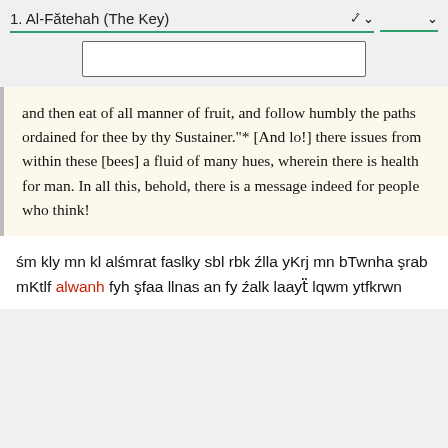1. Al-Fătehah (The Key)
[Figure (screenshot): UI elements: a dropdown selector showing '1. Al-Fătehah (The Key)' with green underline and chevron, a smaller dropdown with chevron, and a search input box below]
and then eat of all manner of fruit, and follow humbly the paths ordained for thee by thy Sustainer."* [And lo!] there issues from within these [bees] a fluid of many hues, wherein there is health for man. In all this, behold, there is a message indeed for people who think!
śm kly mn kl alśmrat faslky sbl rbk źlla yKrj mn bTwnha şrab mKtlf alwanh fyh şfaa llnas an fy źalk laayẗ lqwm ytfkrwn